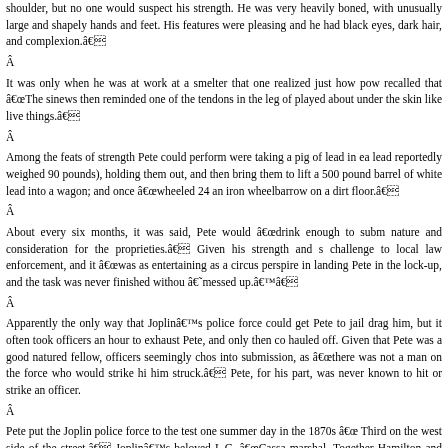shoulder, but no one would suspect his strength. He was very heavily boned, with unusually large and shapely hands and feet. His features were pleasing and he had black eyes, dark hair, and complexion.â€
Â
It was only when he was at work at a smelter that one realized just how powerful he recalled that â€œThe sinews then reminded one of the tendons in the leg of played about under the skin like live things.â€
Â
Among the feats of strength Pete could perform were taking a pig of lead in each hand (each lead reportedly weighed 90 pounds), holding them out, and then bring them to lift a 500 pound barrel of white lead into a wagon; and once â€œwheeled 24 an iron wheelbarrow on a dirt floor.â€
Â
About every six months, it was said, Pete would â€œdrink enough to subm nature and consideration for the proprieties.â€ Given his strength and challenge to local law enforcement, and it â€œwas as entertaining as a circus perspire in landing Pete in the lock-up, and the task was never finished withou â€˜messed up.â€™â€
Â
Apparently the only way that Joplinâ€™s police force could get Pete to jail drag him, but it often took officers an hour to exhaust Pete, and only then hauled off. Given that Pete was a good natured fellow, officers seemingly chos into submission, as â€œthere was not a man on the force who would strike hi him struck.â€ Pete, for his part, was never known to hit or strike an officer.
Â
Pete put the Joplin police force to the test one summer day in the 1870s â€œ Third on the west side of the street.â€ Joplinâ€™s beloved L.C. â€œCassa marshal. Together Hamilton and two of his deputies, one of whom was Joe Ro for a minor offense. Hamilton and his men were described as â€œlarge m roughly 250 pounds and the deputies roughly 200 pounds each. The three offi the fight was on, but not for long.
Â
â€œBefore the dust had a chance to settle, it was seen that Hamilton was